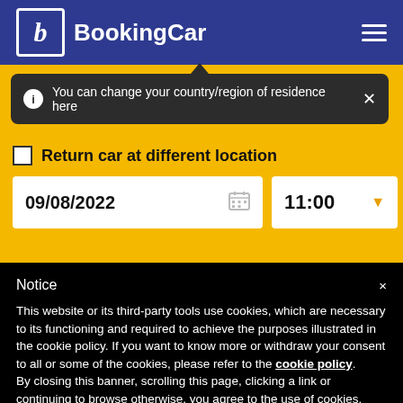BookingCar
You can change your country/region of residence here
Return car at different location
09/08/2022   11:00
Notice
This website or its third-party tools use cookies, which are necessary to its functioning and required to achieve the purposes illustrated in the cookie policy. If you want to know more or withdraw your consent to all or some of the cookies, please refer to the cookie policy. By closing this banner, scrolling this page, clicking a link or continuing to browse otherwise, you agree to the use of cookies.